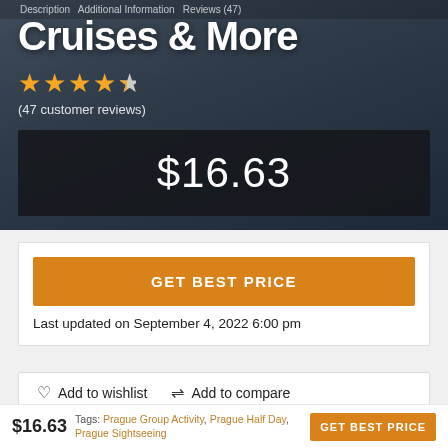Description  Additional Information  Reviews (47)
Cruises & More
★★★★☆ (47 customer reviews)
$16.63
GET BEST PRICE
Last updated on September 4, 2022 6:00 pm
♡ Add to wishlist  ⇌ Add to compare
$16.63 | Tags: Prague Group Activity, Prague Half Day, Prague Sightseeing | GET BEST PRICE